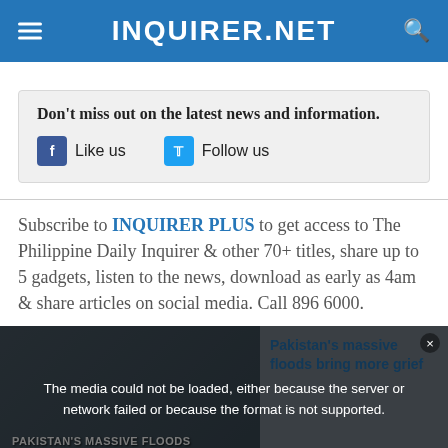INQUIRER.NET
Don't miss out on the latest news and information.
Like us   Follow us
Subscribe to INQUIRER PLUS to get access to The Philippine Daily Inquirer & other 70+ titles, share up to 5 gadgets, listen to the news, download as early as 4am & share articles on social media. Call 896 6000.
[Figure (screenshot): Video player showing Pakistan's massive floods bring more grief, with a media error overlay message: The media could not be loaded, either because the server or network failed or because the format is not supported.]
Pakistan's massive floods bring more grief